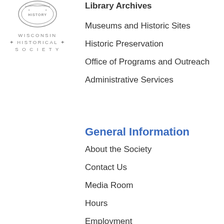[Figure (logo): Wisconsin Historical Society logo with badge icon and text WISCONSIN HISTORICAL SOCIETY]
Library Archives
Museums and Historic Sites
Historic Preservation
Office of Programs and Outreach
Administrative Services
General Information
About the Society
Contact Us
Media Room
Hours
Employment